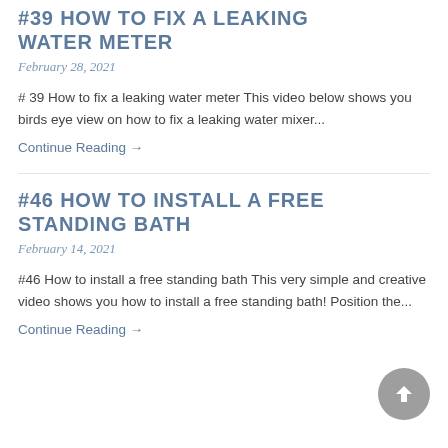#39 HOW TO FIX A LEAKING WATER METER
February 28, 2021
# 39 How to fix a leaking water meter This video below shows you birds eye view on how to fix a leaking water mixer...
Continue Reading →
#46 HOW TO INSTALL A FREE STANDING BATH
February 14, 2021
#46 How to install a free standing bath This very simple and creative video shows you how to install a free standing bath! Position the...
Continue Reading →